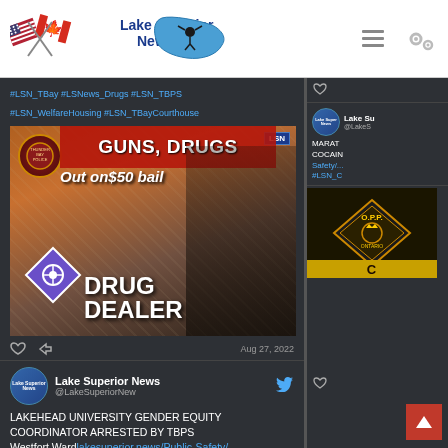Lake Superior News
#LSN_TBay #LSNews_Drugs #LSN_TBPS #LSN_WelfareHousing #LSN_TBayCourthouse
[Figure (photo): Image with text overlay: GUNS, DRUGS Out on $50 bail DRUG DEALER with a photo of a Black youth and drug paraphernalia]
Aug 27, 2022
Lake Superior News @LakeSuperiorNew
LAKEHEAD UNIVERSITY GENDER EQUITY COORDINATOR ARRESTED BY TBPS Westfort Ward lakesuperior.news/Public-Safety/ #LSN_Crime #LSN_TBay #LSN_TBPS
Lake Su @LakeS MARAT COCAIN Safety/ #LSN_C